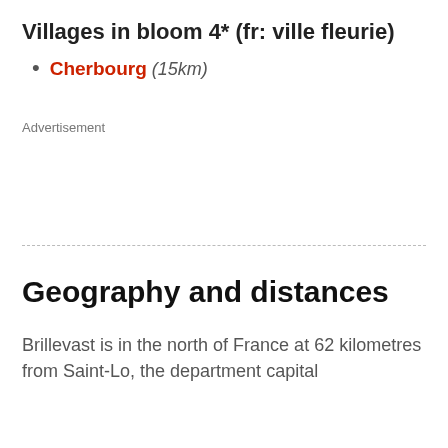Villages in bloom 4* (fr: ville fleurie)
Cherbourg (15km)
Advertisement
Geography and distances
Brillevast is in the north of France at 62 kilometres from Saint-Lo, the department capital